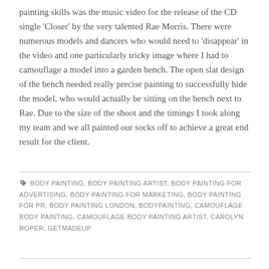painting skills was the music video for the release of the CD single 'Closer' by the very talented Rae Morris. There were numerous models and dancers who would need to 'disappear' in the video and one particularly tricky image where I had to camouflage a model into a garden bench. The open slat design of the bench needed really precise painting to successfully hide the model, who would actually be sitting on the bench next to Rae. Due to the size of the shoot and the timings I took along my team and we all painted our socks off to achieve a great end result for the client.
BODY PAINTING, BODY PAINTING ARTIST, BODY PAINTING FOR ADVERTISING, BODY PAINTING FOR MARKETING, BODY PAINTING FOR PR, BODY PAINTING LONDON, BODYPAINTING, CAMOUFLAGE BODY PAINTING, CAMOUFLAGE BODY PAINTING ARTIST, CAROLYN ROPER, GETMADEUP